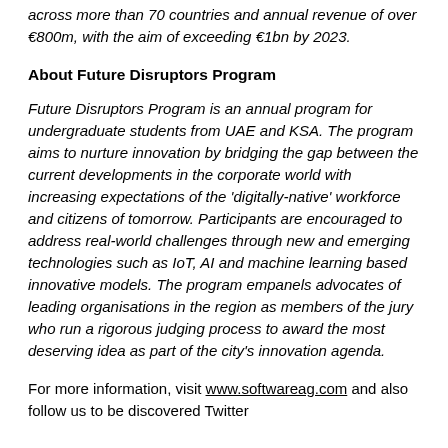across more than 70 countries and annual revenue of over €800m, with the aim of exceeding €1bn by 2023.
About Future Disruptors Program
Future Disruptors Program is an annual program for undergraduate students from UAE and KSA. The program aims to nurture innovation by bridging the gap between the current developments in the corporate world with increasing expectations of the 'digitally-native' workforce and citizens of tomorrow. Participants are encouraged to address real-world challenges through new and emerging technologies such as IoT, AI and machine learning based innovative models. The program empanels advocates of leading organisations in the region as members of the jury who run a rigorous judging process to award the most deserving idea as part of the city's innovation agenda.
For more information, visit www.softwareag.com and also follow us to be discovered Twitter